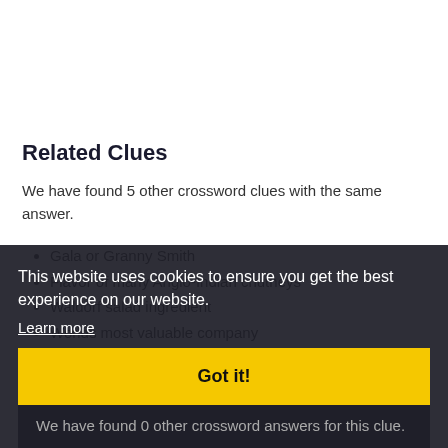Related Clues
We have found 5 other crossword clues with the same answer.
Gala or Granny Smith
Flavor of many Anglo-Indian chutneys
Waldorf salad ingredient
Worlds most valuable company
Related Answers
We have found 0 other crossword answers for this clue.
This website uses cookies to ensure you get the best experience on our website. Learn more Got it!